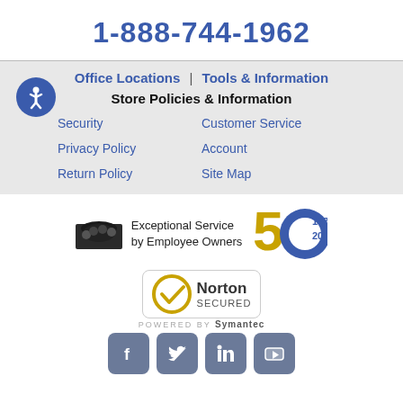1-888-744-1962
Office Locations | Tools & Information
Store Policies & Information
Security
Customer Service
Privacy Policy
Account
Return Policy
Site Map
[Figure (logo): Exceptional Service by Employee Owners logo with 50th anniversary badge (1970-2020)]
[Figure (logo): Norton Secured powered by Symantec badge]
[Figure (infographic): Social media icons: Facebook, Twitter, LinkedIn, YouTube]